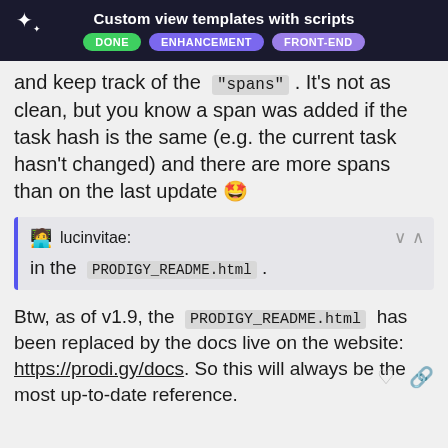Custom view templates with scripts | DONE | ENHANCEMENT | FRONT-END
and keep track of the "spans". It's not as clean, but you know a span was added if the task hash is the same (e.g. the current task hasn't changed) and there are more spans than on the last update 🤩
lucinvitae: in the PRODIGY_README.html .
Btw, as of v1.9, the PRODIGY_README.html has been replaced by the docs live on the website: https://prodi.gy/docs. So this will always be the most up-to-date reference.